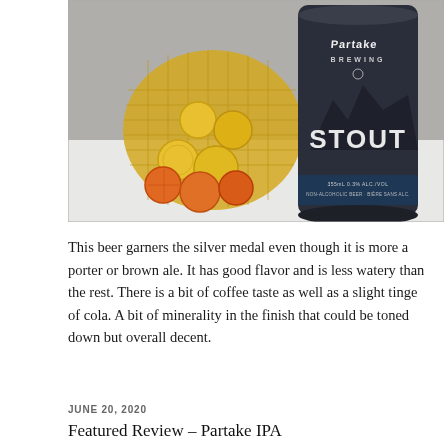[Figure (photo): Photo of a Partake Brewing Stout non-alcoholic beer can (355mL, 0.3% ALC/VOL) next to a mesh bag of gold and orange foil-wrapped chocolate coins, on a white surface.]
This beer garners the silver medal even though it is more a porter or brown ale. It has good flavor and is less watery than the rest. There is a bit of coffee taste as well as a slight tinge of cola. A bit of minerality in the finish that could be toned down but overall decent.
JUNE 20, 2020
Featured Review – Partake IPA